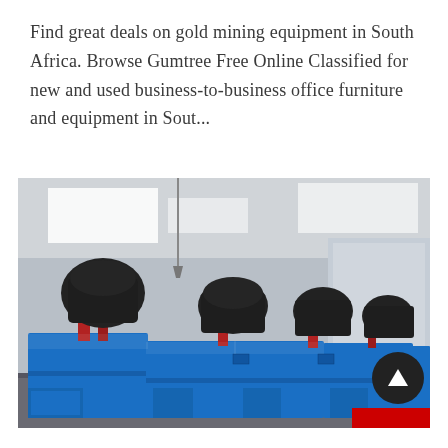Find great deals on gold mining equipment in South Africa. Browse Gumtree Free Online Classified for new and used business-to-business office furniture and equipment in Sout...
[Figure (photo): Industrial photo showing a row of large blue mining/flotation machines with black electric motors mounted on top and red support structures, inside a factory or workshop building with concrete walls and windows.]